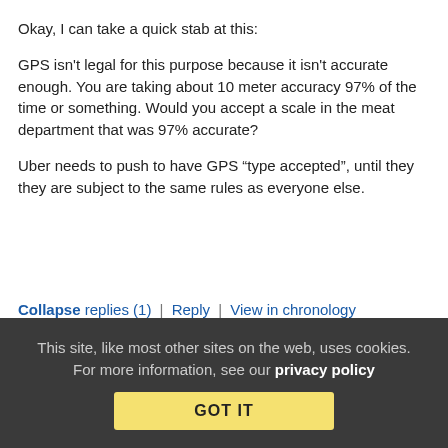Okay, I can take a quick stab at this:
GPS isn't legal for this purpose because it isn't accurate enough. You are taking about 10 meter accuracy 97% of the time or something. Would you accept a scale in the meat department that was 97% accurate?
Uber needs to push to have GPS “type accepted”, until they they are subject to the same rules as everyone else.
Collapse replies (1) | Reply | View in chronology
[Figure (infographic): Row of 5 comment action icons: lightbulb, laughing face, open-quote speech bubble, close-quote speech bubble, flag]
This site, like most other sites on the web, uses cookies. For more information, see our privacy policy
GOT IT